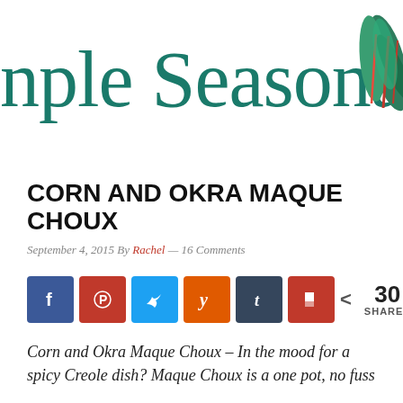[Figure (logo): Simple Seasonal blog logo in teal/green serif font with vegetable illustration in top right corner]
CORN AND OKRA MAQUE CHOUX
September 4, 2015 By Rachel — 16 Comments
[Figure (infographic): Social share buttons: Facebook, Pinterest, Twitter, Yummly, Tumblr, Flipboard, with share count of 30 SHARES]
Corn and Okra Maque Choux – In the mood for a spicy Creole dish? Maque Choux is a one pot, no fuss